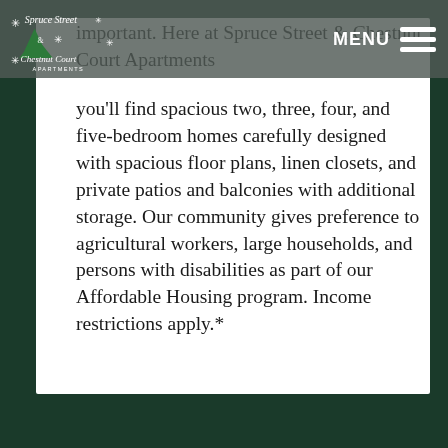Spruce Street & Chestnut Court Apartments — MENU
important. Here at Spruce Street & Chestnut Court Apartments you'll find spacious two, three, four, and five-bedroom homes carefully designed with spacious floor plans, linen closets, and private patios and balconies with additional storage. Our community gives preference to agricultural workers, large households, and persons with disabilities as part of our Affordable Housing program. Income restrictions apply.*